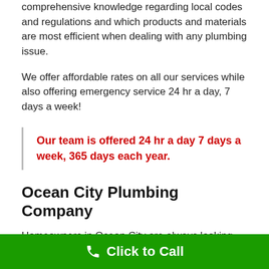comprehensive knowledge regarding local codes and regulations and which products and materials are most efficient when dealing with any plumbing issue.
We offer affordable rates on all our services while also offering emergency service 24 hr a day, 7 days a week!
Our team is offered 24 hr a day 7 days a week, 365 days each year.
Ocean City Plumbing Company
Homeowners in Ocean City are always looking for a plumbing company they can trust. When it involves your plumbing requires, you are worthy of an expert.
We provide a complete range of services that consists of
Click to Call